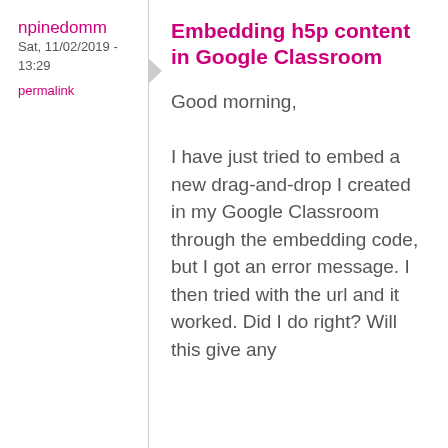npinedomm
Sat, 11/02/2019 - 13:29
permalink
Embedding h5p content in Google Classroom
Good morning,
I have just tried to embed a new drag-and-drop I created in my Google Classroom through the embedding code, but I got an error message. I then tried with the url and it worked. Did I do right? Will this give any